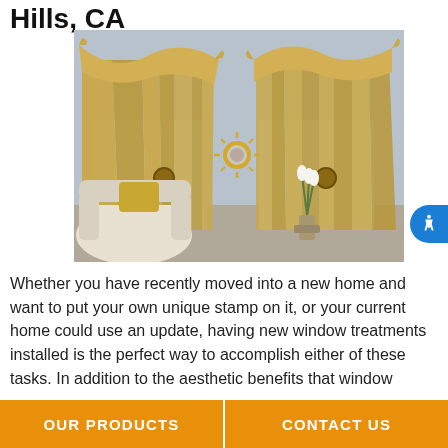Hills, CA
[Figure (photo): Interior room photo showing elegant gold/cream floor-length curtains with decorative swag valances on two windows, gold sunburst mirror on wall, white sofa with gold pillow, and vase of white tulips]
Whether you have recently moved into a new home and want to put your own unique stamp on it, or your current home could use an update, having new window treatments installed is the perfect way to accomplish either of these tasks. In addition to the aesthetic benefits that window
OUR PRODUCTS | CONTACT US